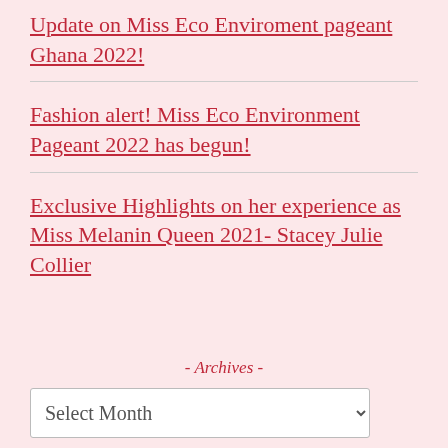Update on Miss Eco Enviroment pageant Ghana 2022!
Fashion alert! Miss Eco Environment Pageant 2022 has begun!
Exclusive Highlights on her experience as Miss Melanin Queen 2021- Stacey Julie Collier
- Archives -
Select Month